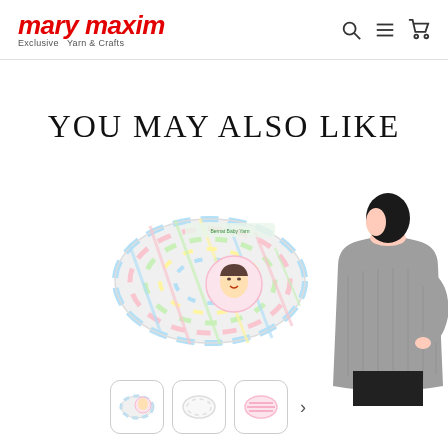mary maxim — Exclusive Yarn & Crafts
YOU MAY ALSO LIKE
[Figure (photo): Skein of multicolor pastel yarn (white, pink, yellow, green, blue) with a product label showing a sleeping baby, positioned center-left of the page]
[Figure (photo): Partial view of a person wearing a gray knit sweater, shown from behind/side, positioned at the right edge of the page]